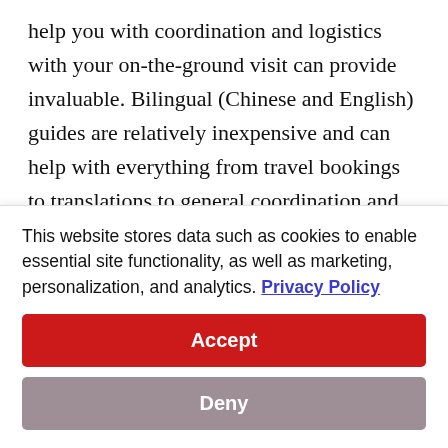help you with coordination and logistics with your on-the-ground visit can provide invaluable. Bilingual (Chinese and English) guides are relatively inexpensive and can help with everything from travel bookings to translations to general coordination and navigation of getting in and around China.
Holidays and time periods to avoid
Chinese holidays can cause mild to major delays at busy transportation hubs. Below we've listed some of the most
This website stores data such as cookies to enable essential site functionality, as well as marketing, personalization, and analytics. Privacy Policy
Accept
Deny